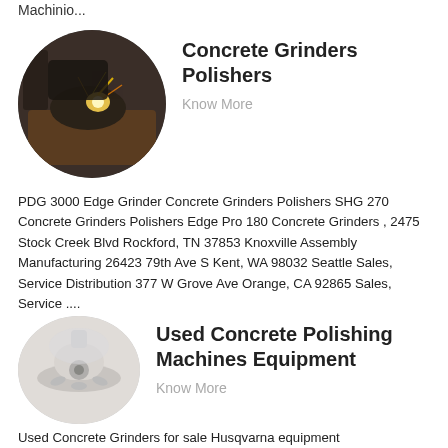Machinio...
[Figure (photo): Oval photo of concrete grinding equipment with sparks flying]
Concrete Grinders Polishers
Know More
PDG 3000 Edge Grinder Concrete Grinders Polishers SHG 270 Concrete Grinders Polishers Edge Pro 180 Concrete Grinders , 2475 Stock Creek Blvd Rockford, TN 37853 Knoxville Assembly Manufacturing 26423 79th Ave S Kent, WA 98032 Seattle Sales, Service Distribution 377 W Grove Ave Orange, CA 92865 Sales, Service ....
[Figure (photo): Oval photo of used concrete polishing machine equipment]
Used Concrete Polishing Machines Equipment
Know More
Used Concrete Grinders for sale Husqvarna equipment